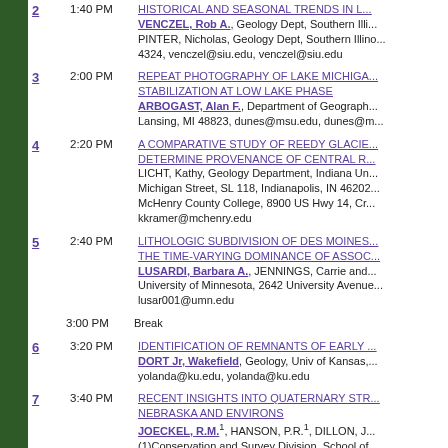2 | 1:40 PM | HISTORICAL AND SEASONAL TRENDS IN... VENCZEL, Rob A., Geology Dept, Southern Illin... PINTER, Nicholas, Geology Dept, Southern Illin... 4324, venczel@siu.edu, venczel@siu.edu
3 | 2:00 PM | REPEAT PHOTOGRAPHY OF LAKE MICHIGAN STABILIZATION AT LOW LAKE PHASE ARBOGAST, Alan F., Department of Geograph... Lansing, MI 48823, dunes@msu.edu, dunes@m...
4 | 2:20 PM | A COMPARATIVE STUDY OF REEDY GLACIER... DETERMINE PROVENANCE OF CENTRAL R... LICHT, Kathy, Geology Department, Indiana Un... Michigan Street, SL 118, Indianapolis, IN 46202... McHenry County College, 8900 US Hwy 14, Cr... kkramer@mchenry.edu
5 | 2:40 PM | LITHOLOGIC SUBDIVISION OF DES MOINES... THE TIME-VARYING DOMINANCE OF ASSOC... LUSARDI, Barbara A., JENNINGS, Carrie and... University of Minnesota, 2642 University Avenue... lusar001@umn.edu
Break | 3:00 PM
6 | 3:20 PM | IDENTIFICATION OF REMNANTS OF EARLY... DORT Jr, Wakefield, Geology, Univ of Kansas... yolanda@ku.edu, yolanda@ku.edu
7 | 3:40 PM | RECENT INSIGHTS INTO QUATERNARY STR... NEBRASKA AND ENVIRONS JOECKEL, R.M., HANSON, P.R., DILLON, J... (1)Conservation and Survey Division, School of... Lincoln, NE 68583-0996, (2)Department of Geo...